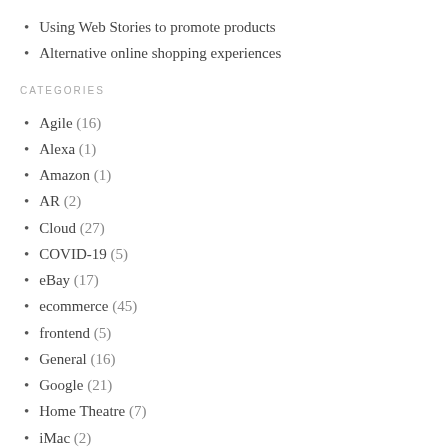Using Web Stories to promote products
Alternative online shopping experiences
CATEGORIES
Agile (16)
Alexa (1)
Amazon (1)
AR (2)
Cloud (27)
COVID-19 (5)
eBay (17)
ecommerce (45)
frontend (5)
General (16)
Google (21)
Home Theatre (7)
iMac (2)